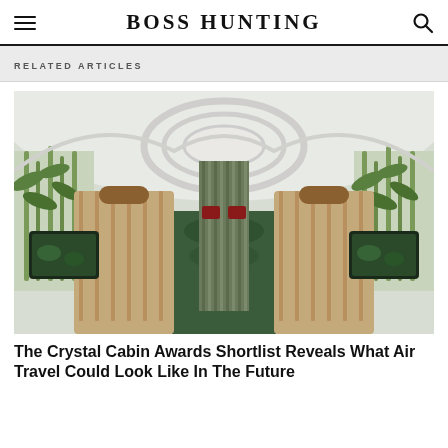BOSS HUNTING
RELATED ARTICLES
[Figure (photo): Interior of a luxury aircraft cabin showing premium first-class seats with wooden slat dividers, green botanical wall art, and personal entertainment screens on both sides of an aisle, viewed from the rear looking forward.]
The Crystal Cabin Awards Shortlist Reveals What Air Travel Could Look Like In The Future